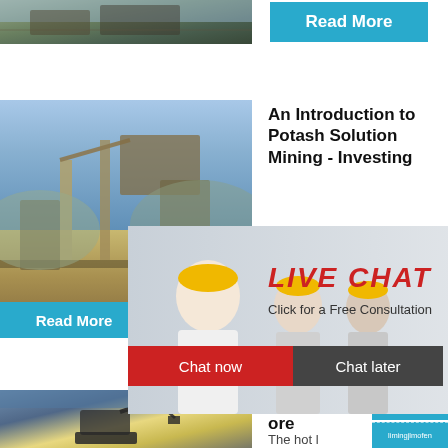[Figure (photo): Aerial view of mining/industrial facility]
Read More
[Figure (photo): Potash solution mining facility with conveyor equipment]
An Introduction to Potash Solution Mining - Investing
[Figure (photo): Live chat popup overlay with workers in hard hats]
LIVE CHAT
Click for a Free Consultation
Chat now
Chat later
Read More
hour online
[Figure (photo): Industrial cone crusher machine]
Click me to chat>>
[Figure (photo): Excavator working at mining site]
Proces ore
The hot l
Enquiry
limingjlmofen